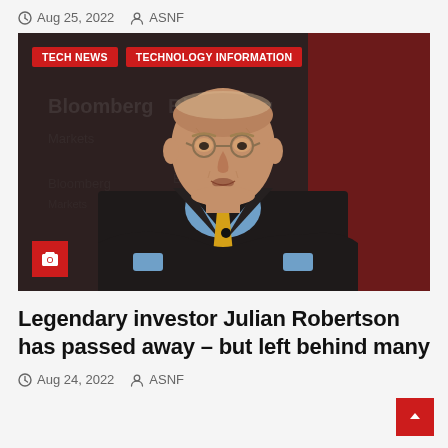Aug 25, 2022  ASNF
[Figure (photo): Elderly man in dark plaid suit with blue shirt and yellow tie, arms crossed, speaking at what appears to be a Bloomberg event. Red tags overlay at top: TECH NEWS and TECHNOLOGY INFORMATION. Camera icon badge at bottom left.]
Legendary investor Julian Robertson has passed away – but left behind many
Aug 24, 2022  ASNF